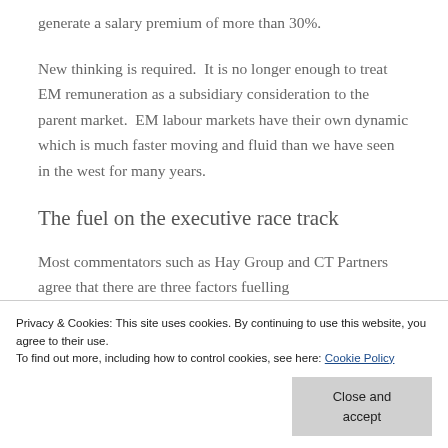generate a salary premium of more than 30%.
New thinking is required.  It is no longer enough to treat EM remuneration as a subsidiary consideration to the parent market.  EM labour markets have their own dynamic which is much faster moving and fluid than we have seen in the west for many years.
The fuel on the executive race track
Most commentators such as Hay Group and CT Partners agree that there are three factors fuelling
Privacy & Cookies: This site uses cookies. By continuing to use this website, you agree to their use.
To find out more, including how to control cookies, see here: Cookie Policy